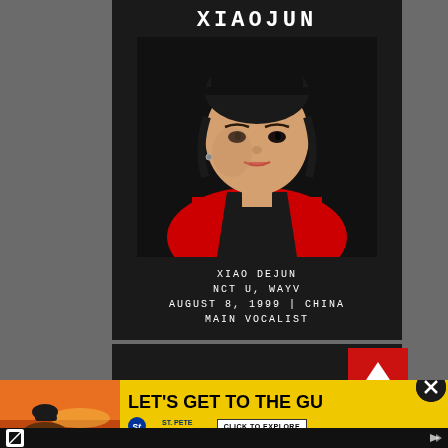XIAOJUN
[Figure (photo): Portrait photo of Xiaojun wearing black hat and red jacket against dark background]
XIAO DEJUN
NCT U, WAYV
AUGUST 8, 1999 | CHINA
MAIN VOCALIST
HENDERY
[Figure (photo): Partial photo of Hendery, bottom portion cut off]
[Figure (other): Navigation arrows up and down on red background]
[Figure (photo): Advertisement banner: woman in sunglasses by pool at sunset, St. Pete Clearwater, LET'S GET TO THE GU... CLICK TO EXPLORE]